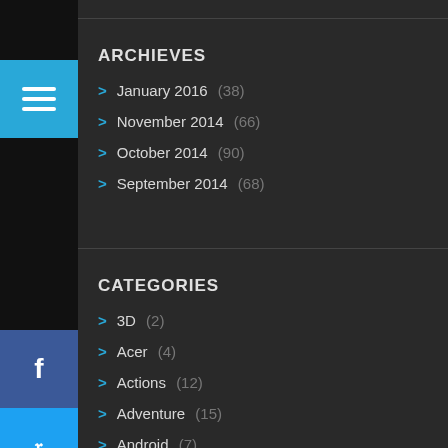ARCHIEVES
January 2016 (38)
November 2014 (66)
October 2014 (90)
September 2014 (68)
CATEGORIES
3D (2)
Acer (4)
Actions (12)
Adventure (15)
Android (7)
Androids (3)
Apple (5)
Apple Apps (2)
Appliances (1)